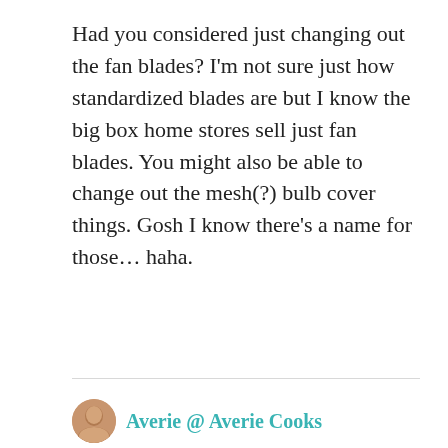Had you considered just changing out the fan blades? I'm not sure just how standardized blades are but I know the big box home stores sell just fan blades. You might also be able to change out the mesh(?) bulb cover things. Gosh I know there's a name for those… haha.
Reply
Averie @ Averie Cooks
April 11, 2012 at 11:45 am
Kath the room is just gorgeous! You pulled off the mix 'n match from different places in an amazing way. It just goes so beautifully